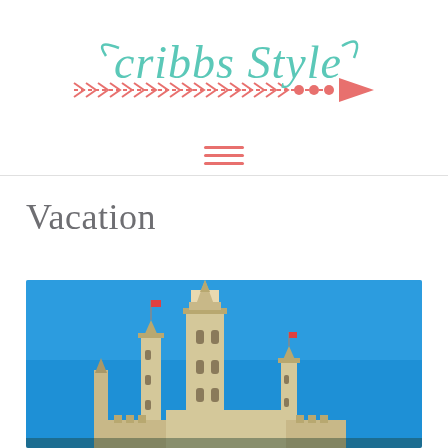[Figure (logo): Cribbs Style blog logo with decorative script text and a pink arrow]
[Figure (other): Hamburger menu icon with three horizontal pink lines]
Vacation
[Figure (photo): Photo of a tall ornate Gothic castle spire (Disneyland castle) against a bright blue sky]